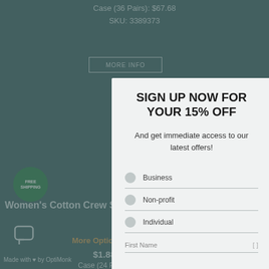Case (36 Pairs): $67.68
SKU: 3389373
MORE INFO
[Figure (illustration): Green circular FREE SHIPPING badge]
Women's Cotton Crew Socks, White With Gray Heel Toe, 9-
[Figure (infographic): Sign up now modal overlay with 15% off offer, radio buttons for Business, Non-profit, Individual, and First Name input field]
More Options Available
$1.88 Unit Price
Case (24 Pairs): $45.12
Made with ♥ by OptiMonk